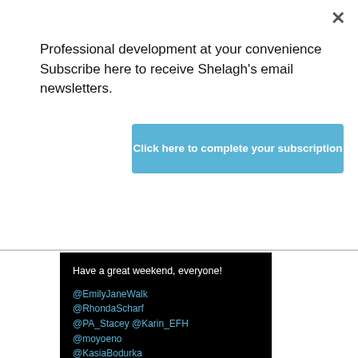×
Professional development at your convenience Subscribe here to receive Shelagh's email newsletters.
Click here to complete your subscription
Have a great weekend, everyone!
@EmilyJaneWalk
@RhondaScharf
@PA_Stacey @Karin_EFH
@moyoeno
@KasiaBodurka
@JMOosterhoff
@ScotPAnetwork
@backpocketPA
@Julia_SchmidtEA
@lucybrazier @kr1010_k
@bmciaap @HawaiianEA
#TwitterNatureCommunity